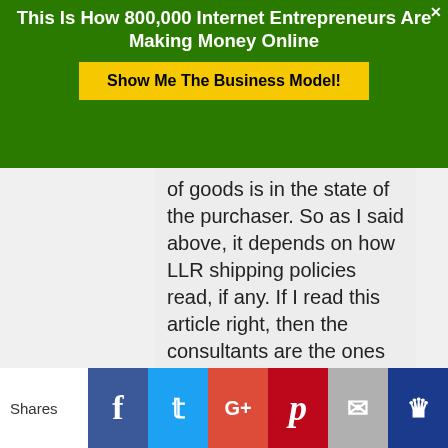This Is How 800,000 Internet Entrepreneurs Are Making Money Online
Show Me The Business Model!
of goods is in the state of the purchaser. So as I said above, it depends on how LLR shipping policies read, if any. If I read this article right, then the consultants are the ones on the hook to make this determination and LLR is just covering their behinds by charging it to all because most
Shares